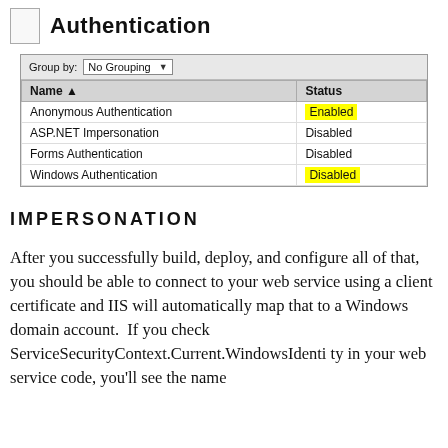[Figure (screenshot): IIS Authentication settings panel showing a table with Name and Status columns. Anonymous Authentication is Enabled (highlighted yellow), ASP.NET Impersonation is Disabled, Forms Authentication is Disabled, Windows Authentication is Disabled (highlighted yellow).]
IMPERSONATION
After you successfully build, deploy, and configure all of that, you should be able to connect to your web service using a client certificate and IIS will automatically map that to a Windows domain account.  If you check ServiceSecurityContext.Current.WindowsIdentity in your web service code, you’ll see the name